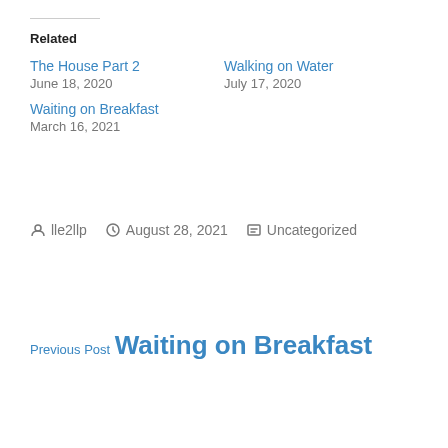Related
The House Part 2
June 18, 2020
Walking on Water
July 17, 2020
Waiting on Breakfast
March 16, 2021
lle2llp  August 28, 2021  Uncategorized
Previous Post
Waiting on Breakfast